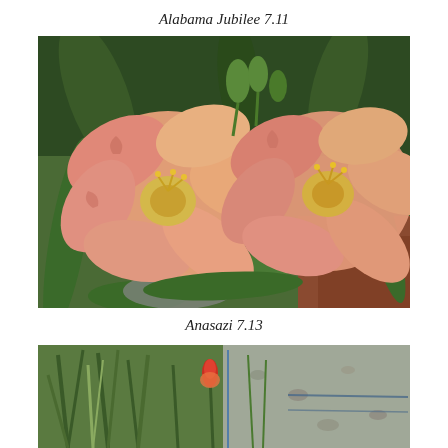Alabama Jubilee 7.11
[Figure (photo): Two large peach-pink daylily flowers with ruffled petals and yellow centers, surrounded by green foliage and mulch. Photo of Alabama Jubilee daylily variety.]
Anasazi 7.13
[Figure (photo): Garden scene with green plants and a red flower bud visible, gravel path on right side. Photo of Anasazi daylily variety.]